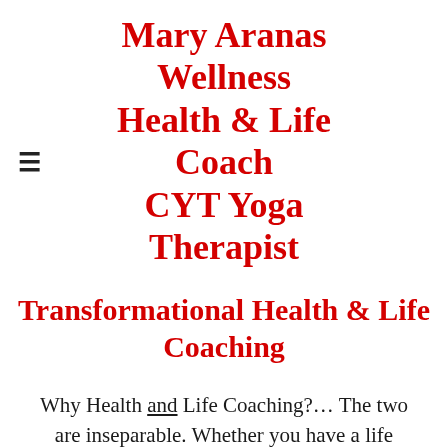Mary Aranas Wellness Health & Life Coach CYT Yoga Therapist
Transformational Health & Life Coaching
Why Health and Life Coaching?… The two are inseparable. Whether you have a life